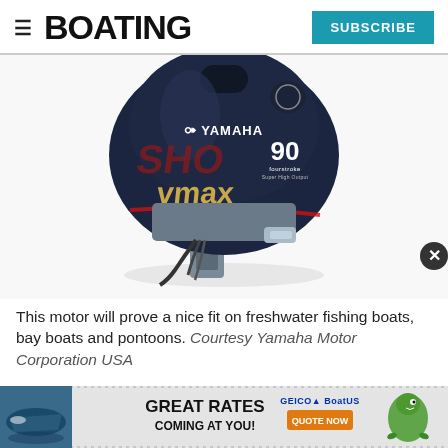BOATING | SUBSCRIBE
[Figure (photo): Yamaha VMAX SHO 90 four-stroke outboard motor with dark navy cowling, Yamaha logo, SHO and VMAX branding in red and gold, showing the engine, bracket and lower unit.]
This motor will prove a nice fit on freshwater fishing boats, bay boats and pontoons. Courtesy Yamaha Motor Corporation USA
[Figure (infographic): GEICO BoatUS advertisement banner: 'GREAT RATES COMING AT YOU!' with GEICO BoatUS logo, QUOTE NOW button, gecko mascot, and boat image on left.]